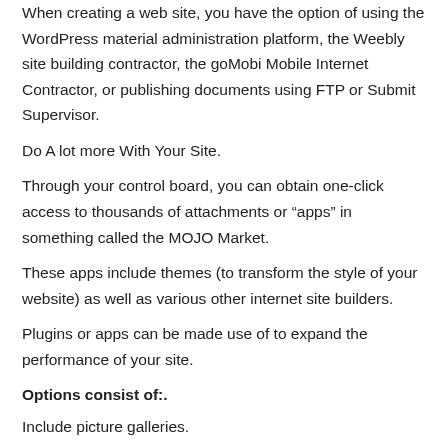When creating a web site, you have the option of using the WordPress material administration platform, the Weebly site building contractor, the goMobi Mobile Internet Contractor, or publishing documents using FTP or Submit Supervisor.
Do A lot more With Your Site.
Through your control board, you can obtain one-click access to thousands of attachments or “apps” in something called the MOJO Market.
These apps include themes (to transform the style of your website) as well as various other internet site builders.
Plugins or apps can be made use of to expand the performance of your site.
Options consist of:.
Include picture galleries.